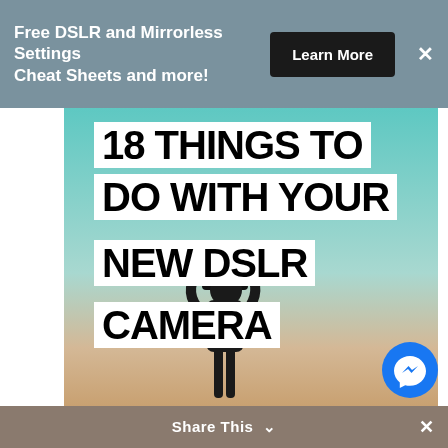Free DSLR and Mirrorless Settings Cheat Sheets and more!
Learn More
[Figure (infographic): Promotional image showing silhouette of a photographer against a teal-to-warm gradient sky background, with large bold white text blocks reading '18 THINGS TO DO WITH YOUR NEW DSLR CAMERA']
Share This ∨